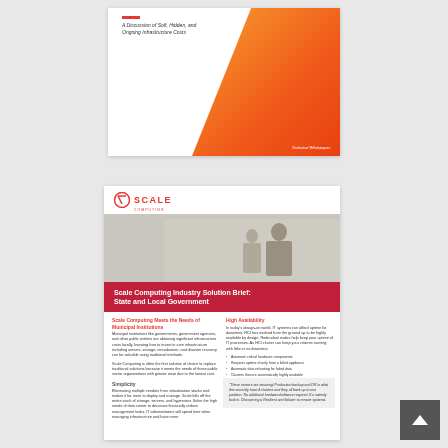[Figure (illustration): Cover page of a technical whitepaper with orange geometric design. Title reads 'A Discussion of Soft, Hidden, and Ongoing Infrastructure Costs'. Red accent bar at top left. 'Technical Whitepaper' label at bottom right.]
[Figure (illustration): Scale Computing Industry Solution Brief cover and content page for State and Local Government. Includes Scale Computing logo, photo of business professionals, red banner with title, two-column body text covering Scale Computing Meets the Needs of Municipal Institutions, High Availability, Simplicity sections with bullet points, and a quote box.]